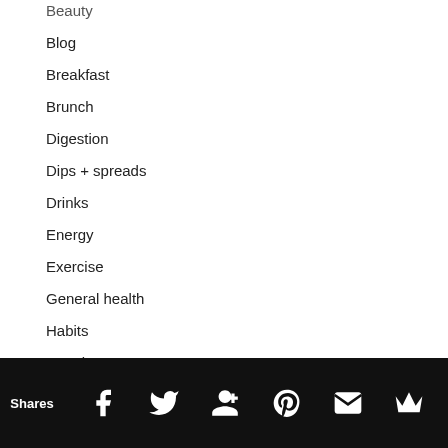Beauty
Blog
Breakfast
Brunch
Digestion
Dips + spreads
Drinks
Energy
Exercise
General health
Habits
Happiness
Juices
Lifestyle
Shares  Facebook  Twitter  Google+  Pinterest  Email  Crown